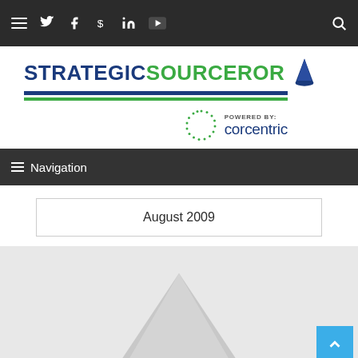Navigation bar with social icons: hamburger menu, Twitter, Facebook, dollar sign, LinkedIn, YouTube, search
[Figure (logo): StrategicSourceror logo with wizard hat, powered by Corcentric branding, blue and green color scheme]
≡ Navigation
August 2009
[Figure (illustration): Partial wizard hat triangle shape visible at bottom of page over gray background, with scroll-to-top blue button in bottom right]